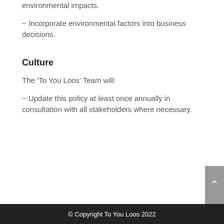environmental impacts.
~ Incorporate environmental factors into business decisions.
Culture
The ‘To You Loos’ Team will:
~ Update this policy at least once annually in consultation with all stakeholders where necessary.
© Copyright To You Loos 2022